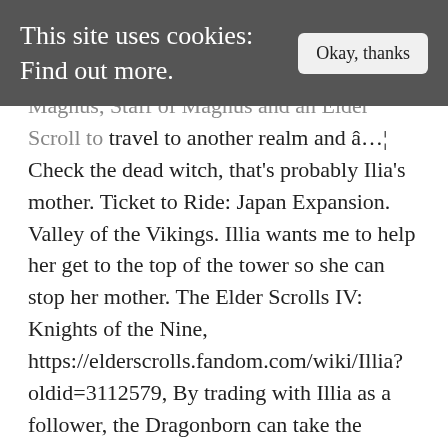This site uses cookies: Find out more.  Okay, thanks
Magnus, Staff of Magnus and an Elder Scroll to travel to another realm and â€¦ Check the dead witch, that's probably Ilia's mother. Ticket to Ride: Japan Expansion. Valley of the Vikings. Illia wants me to help her get to the top of the tower so she can stop her mother. The Elder Scrolls IV: Knights of the Nine, https://elderscrolls.fandom.com/wiki/Illia?oldid=3112579, By trading with Illia as a follower, the Dragonborn can take the Darklight Tower Closet. If you haven't discovered it yet, it would be best to begin at the nearby town of Riften. Illia is a mage who can be recruited in Darklight